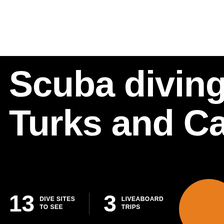Scuba diving in Turks and Caicos
13 DIVE SITES TO SEE
3 LIVEABOARD TRIPS